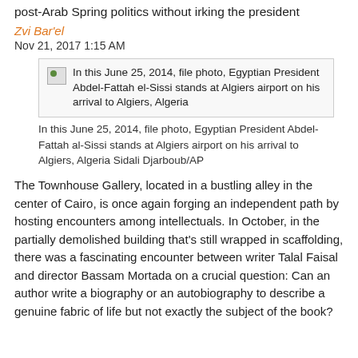post-Arab Spring politics without irking the president
Zvi Bar'el
Nov 21, 2017 1:15 AM
[Figure (photo): Image placeholder with caption: In this June 25, 2014, file photo, Egyptian President Abdel-Fattah el-Sissi stands at Algiers airport on his arrival to Algiers, Algeria]
In this June 25, 2014, file photo, Egyptian President Abdel-Fattah al-Sissi stands at Algiers airport on his arrival to Algiers, Algeria Sidali Djarboub/AP
The Townhouse Gallery, located in a bustling alley in the center of Cairo, is once again forging an independent path by hosting encounters among intellectuals. In October, in the partially demolished building that’s still wrapped in scaffolding, there was a fascinating encounter between writer Talal Faisal and director Bassam Mortada on a crucial question: Can an author write a biography or an autobiography to describe a genuine fabric of life but not exactly the subject of the book?